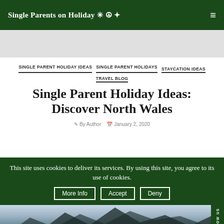Single Parents on Holiday ✳ ☮ ⛰
SINGLE PARENT HOLIDAY IDEAS   SINGLE PARENT HOLIDAYS   STAYCATION IDEAS   TRAVEL BLOG
Single Parent Holiday Ideas: Discover North Wales
This site uses cookies to deliver its services. By using this site, you agree to its use of cookies.
More Info   Accept   Deny
[Figure (photo): Mountain landscape photo, partially visible at bottom of page showing rocky mountain peaks against a light sky]